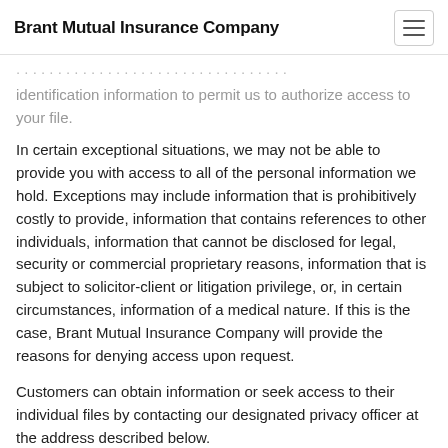Brant Mutual Insurance Company
identification information to permit us to authorize access to your file.
In certain exceptional situations, we may not be able to provide you with access to all of the personal information we hold. Exceptions may include information that is prohibitively costly to provide, information that contains references to other individuals, information that cannot be disclosed for legal, security or commercial proprietary reasons, information that is subject to solicitor-client or litigation privilege, or, in certain circumstances, information of a medical nature. If this is the case, Brant Mutual Insurance Company will provide the reasons for denying access upon request.
Customers can obtain information or seek access to their individual files by contacting our designated privacy officer at the address described below.